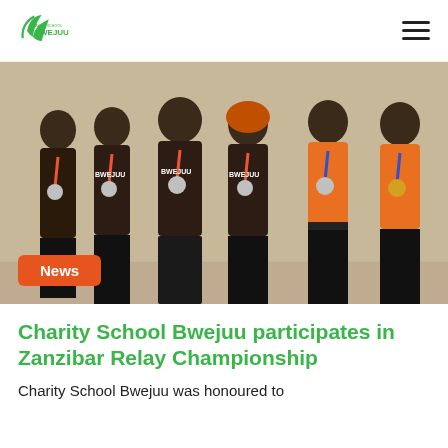Charity School Bwejuu
[Figure (photo): Group of students wearing dark Charity School Bwejuu sports jerseys and medals around their necks, standing together indoors. Two students on the right wear orange tops with medals.]
News
Charity School Bwejuu participates in Zanzibar Relay Championship
Charity School Bwejuu was honoured to